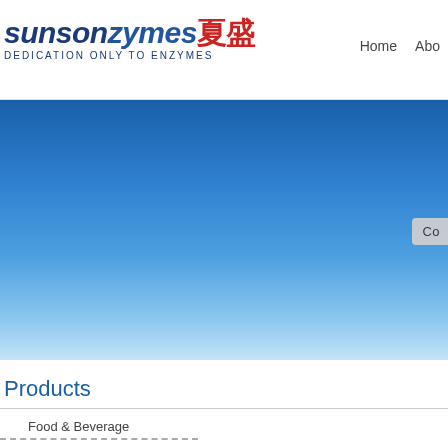[Figure (logo): SunsonZymes 夏盛 logo with tagline DEDICATION ONLY TO ENZYMES]
Home   Abo
[Figure (photo): Blue sky gradient banner image]
Co
Products
Food & Beverage